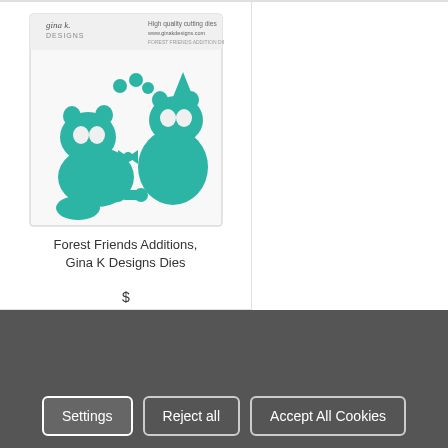[Figure (photo): Product image of Gina K Designs Dies - Forest Friends Additions die set in teal/turquoise color on a white card packaging]
Forest Friends Additions, Gina K Designs Dies
$
Settings  Reject all  Accept All Cookies